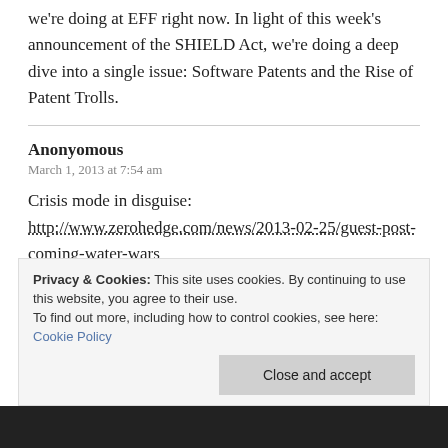we're doing at EFF right now. In light of this week's announcement of the SHIELD Act, we're doing a deep dive into a single issue: Software Patents and the Rise of Patent Trolls.
Anonyomous
March 1, 2013 at 7:54 am
Crisis mode in disguise:
http://www.zerohedge.com/news/2013-02-25/guest-post-coming-water-wars
and
http://www.usbr.gov/uc/water/crsp/cs/gcd.html
Privacy & Cookies: This site uses cookies. By continuing to use this website, you agree to their use. To find out more, including how to control cookies, see here: Cookie Policy
Close and accept